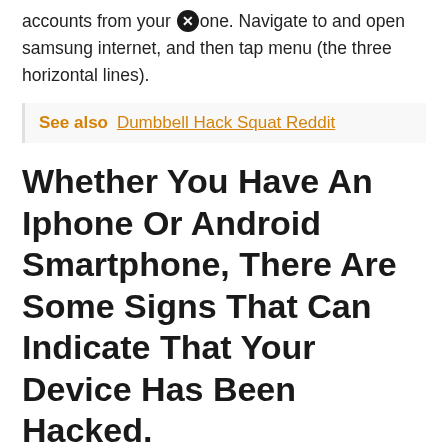accounts from your phone. Navigate to and open samsung internet, and then tap menu (the three horizontal lines).
See also  Dumbbell Hack Squat Reddit
Whether You Have An Iphone Or Android Smartphone, There Are Some Signs That Can Indicate That Your Device Has Been Hacked.
Here's what to do if you think your phone has been hacked. My phone has been hacked how to fix it. Now, you're ready to fight back.